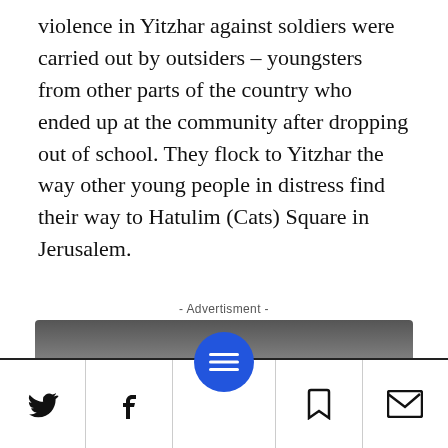violence in Yitzhar against soldiers were carried out by outsiders – youngsters from other parts of the country who ended up at the community after dropping out of school. They flock to Yitzhar the way other young people in distress find their way to Hatulim (Cats) Square in Jerusalem.
- Advertisment -
[Figure (other): Advertisement banner with dark gradient background showing text 'by www.unrealengine.com']
Social share bar with Twitter, Facebook, menu button, bookmark, and email icons